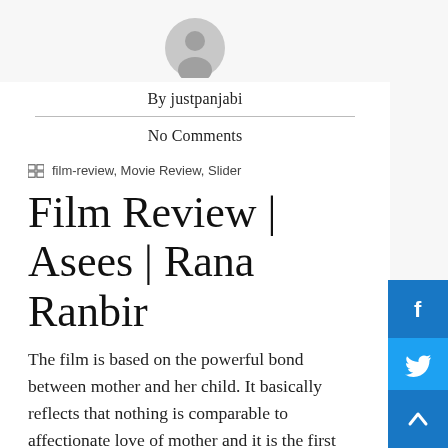[Figure (illustration): Gray default user avatar circle icon]
By justpanjabi
No Comments
☷ film-review, Movie Review, Slider
Film Review | Asees | Rana Ranbir
The film is based on the powerful bond between mother and her child. It basically reflects that nothing is comparable to affectionate love of mother and it is the first love for a child. Story Screenplay Dialogues : Rana Ranbir Music by Tri...eet Kitty Directed by Rana Ranbir Sta...